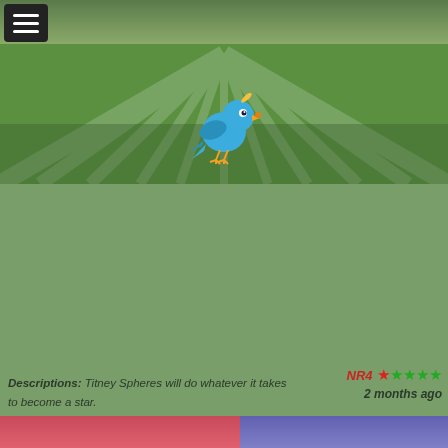[Figure (screenshot): Mobile app navigation bar with hamburger menu icon on dark background]
[Figure (illustration): Green hero banner with sunray pattern and blue Twitter-style bird icon in center]
Descriptions: Titney Spheres will do whatever it takes to become a star. Tags: hardcore michelle
NR4 ★★★★★ 2 months ago